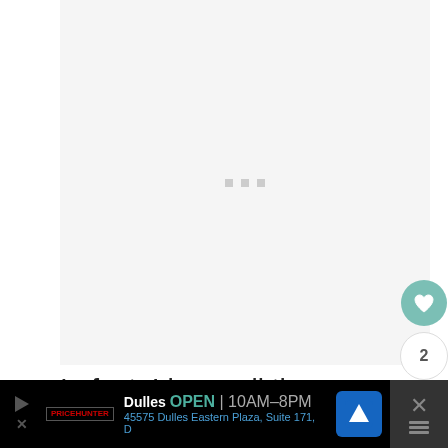[Figure (other): Blank light gray image placeholder area with three small gray loading dots in the center]
In fact, I have all three.
[Figure (other): Side action buttons: heart/like button (teal circle), count '2', and share button]
Dulles OPEN | 10AM-8PM 45575 Dulles Eastern Plaza, Suite 171, D